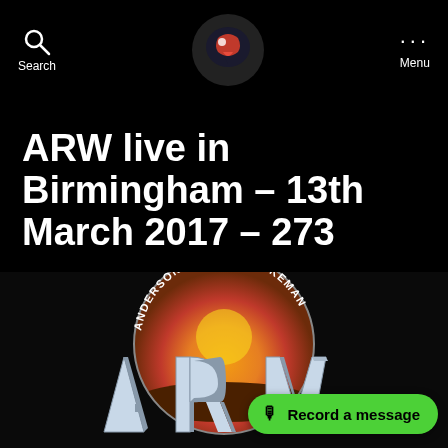Search | [logo] | Menu
ARW live in Birmingham – 13th March 2017 – 273
March 17, 2017   25 Comments
[Figure (logo): Anderson · Rabin · Wakeman (ARW) band logo with circular sunset background and large 3D ARW lettering on black background. Overlay button: 'Record a message']